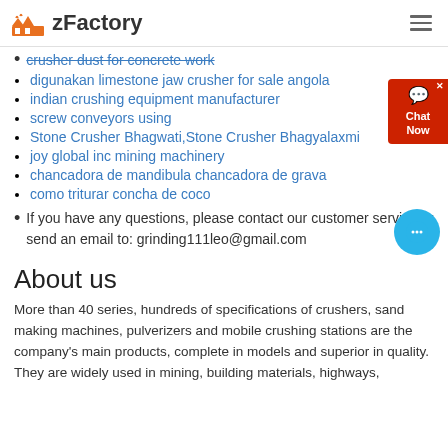zFactory
crusher dust for concrete work
digunakan limestone jaw crusher for sale angola
indian crushing equipment manufacturer
screw conveyors using
Stone Crusher Bhagwati,Stone Crusher Bhagyalaxmi
joy global inc mining machinery
chancadora de mandibula chancadora de grava
como triturar concha de coco
If you have any questions, please contact our customer service or send an email to: grinding111leo@gmail.com
About us
More than 40 series, hundreds of specifications of crushers, sand making machines, pulverizers and mobile crushing stations are the company's main products, complete in models and superior in quality. They are widely used in mining, building materials, highways,